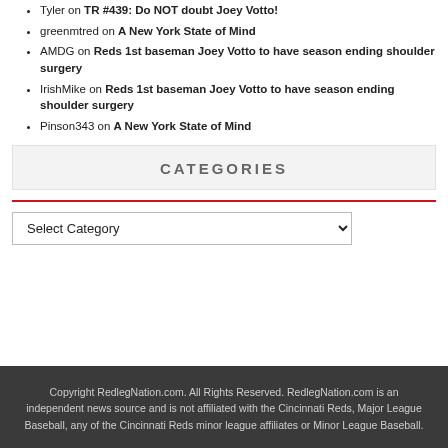Tyler on TR #439: Do NOT doubt Joey Votto!
greenmtred on A New York State of Mind
AMDG on Reds 1st baseman Joey Votto to have season ending shoulder surgery
IrishMike on Reds 1st baseman Joey Votto to have season ending shoulder surgery
Pinson343 on A New York State of Mind
CATEGORIES
Copyright RedlegNation.com. All Rights Reserved. RedlegNation.com is an independent news source and is not affiliated with the Cincinnati Reds, Major League Baseball, any of the Cincinnati Reds minor league affiliates or Minor League Baseball.